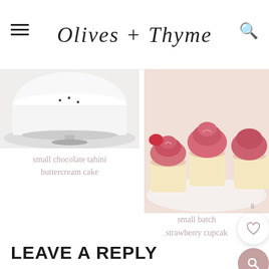Olives + Thyme
[Figure (photo): Close-up of a white frosted layer cake on a plate, with black sesame seeds visible – small chocolate tahini buttercream cake]
small chocolate tahini buttercream cake
[Figure (photo): Several cupcakes with pink/strawberry swirled frosting on a marble board – small batch strawberry cupcakes]
small batch strawberry cupcake
LEAVE A REPLY